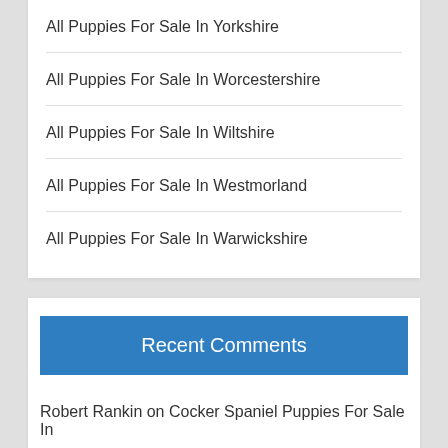All Puppies For Sale In Yorkshire
All Puppies For Sale In Worcestershire
All Puppies For Sale In Wiltshire
All Puppies For Sale In Westmorland
All Puppies For Sale In Warwickshire
Recent Comments
Robert Rankin on Cocker Spaniel Puppies For Sale In